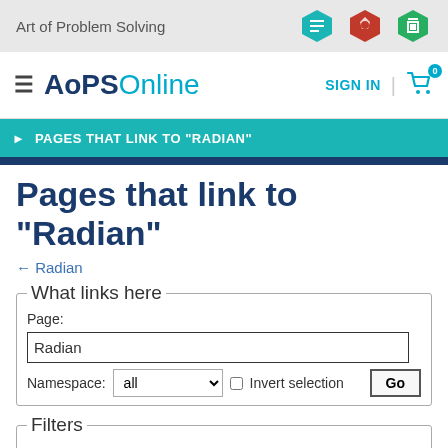Art of Problem Solving
AoPS Online
PAGES THAT LINK TO "RADIAN"
Pages that link to "Radian"
← Radian
What links here
Page: Radian  Namespace: all  Invert selection  Go
Filters